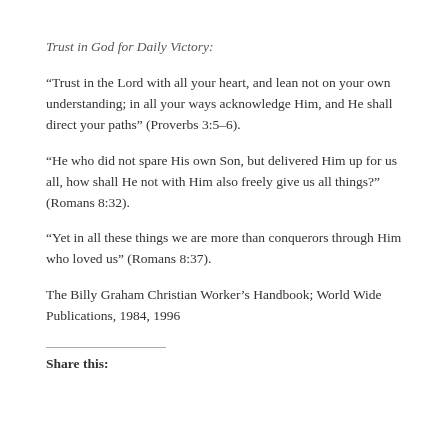Trust in God for Daily Victory:
“Trust in the Lord with all your heart, and lean not on your own understanding; in all your ways acknowledge Him, and He shall direct your paths” (Proverbs 3:5–6).
“He who did not spare His own Son, but delivered Him up for us all, how shall He not with Him also freely give us all things?” (Romans 8:32).
“Yet in all these things we are more than conquerors through Him who loved us” (Romans 8:37).
The Billy Graham Christian Worker’s Handbook; World Wide Publications, 1984, 1996
Share this: